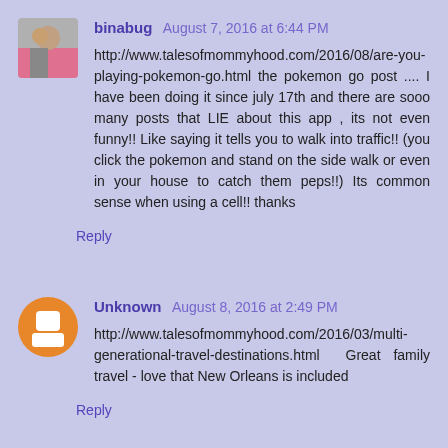binabug August 7, 2016 at 6:44 PM
http://www.talesofmommyhood.com/2016/08/are-you-playing-pokemon-go.html the pokemon go post .... I have been doing it since july 17th and there are sooo many posts that LIE about this app , its not even funny!! Like saying it tells you to walk into traffic!! (you click the pokemon and stand on the side walk or even in your house to catch them peps!!) Its common sense when using a cell!! thanks
Reply
Unknown August 8, 2016 at 2:49 PM
http://www.talesofmommyhood.com/2016/03/multi-generational-travel-destinations.html Great family travel - love that New Orleans is included
Reply
comfychairs August 8, 2016 at 3:25 PM